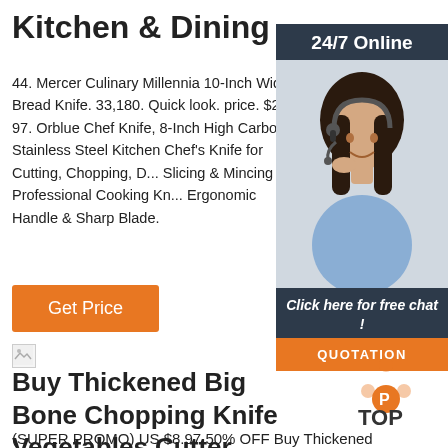Kitchen & Dining
44. Mercer Culinary Millennia 10-Inch Wide Bread Knife. 33,180. Quick look. price. $24. . 97. Orblue Chef Knife, 8-Inch High Carbon Stainless Steel Kitchen Chef's Knife for Cutting, Chopping, D... Slicing & Mincing – Professional Cooking Kn... Ergonomic Handle & Sharp Blade.
[Figure (other): Orange 'Get Price' button]
[Figure (photo): Ad widget: '24/7 Online' header with photo of woman with headset, 'Click here for free chat!' text and orange QUOTATION button]
[Figure (other): Broken image icon placeholder]
Buy Thickened Big Bone Chopping Knife Vegetables Cutter ...
(SUPER PROMO) US $8.97 50% OFF Buy Thickened
[Figure (logo): TOP logo with orange dots arranged in triangle pattern and orange circle]